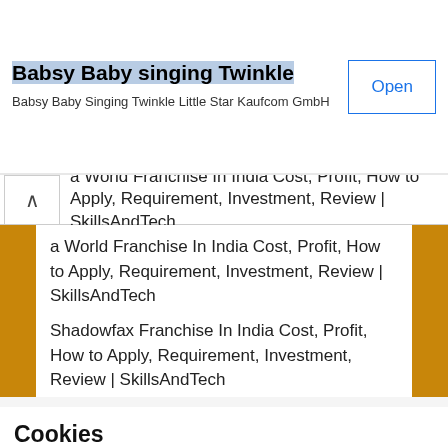[Figure (screenshot): App advertisement banner for 'Babsy Baby singing Twinkle' by Babsy Baby Singing Twinkle Little Star Kaufcom GmbH with an Open button]
a World Franchise In India Cost, Profit, How to Apply, Requirement, Investment, Review | SkillsAndTech
Shadowfax Franchise In India Cost, Profit, How to Apply, Requirement, Investment, Review | SkillsAndTech
Cookies
We use cookies on our website to give you the most relevant experience by remembering your preferences and repeat visits. By clicking “Accept All”, you consent to the use of ALL the cookies. However, you may visit “Cookie Settings” to provide a controlled consent.
Cookie Settings   Accept All